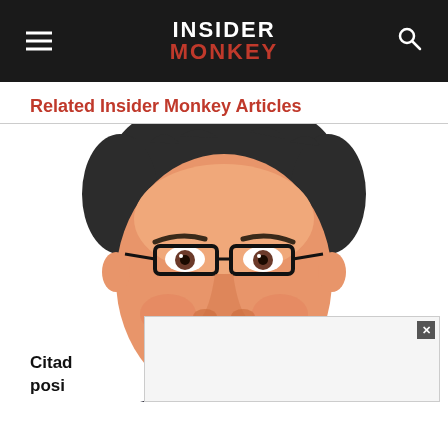INSIDER MONKEY
Related Insider Monkey Articles
[Figure (illustration): Cartoon caricature illustration of a man with dark hair, glasses, wearing a dark suit — likely a hedge fund manager or financial figure]
Citad... posi...